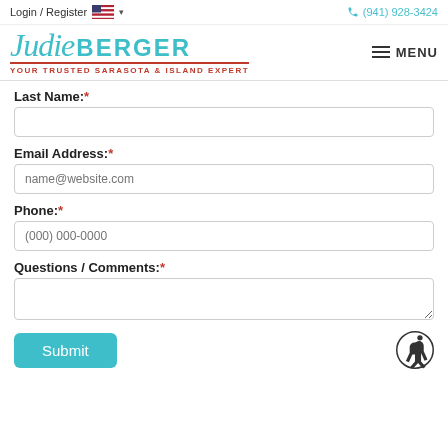Login / Register  (941) 928-3424
[Figure (logo): Judie Berger - Your Trusted Sarasota & Island Expert logo with teal script and sans-serif text]
Last Name:*
Email Address:*
Phone:*
Questions / Comments:*
Submit